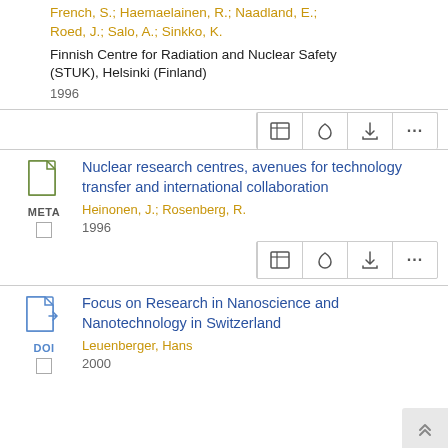French, S.; Haemaelainen, R.; Naadland, E.; Roed, J.; Salo, A.; Sinkko, K.
Finnish Centre for Radiation and Nuclear Safety (STUK), Helsinki (Finland)
1996
Nuclear research centres, avenues for technology transfer and international collaboration
Heinonen, J.; Rosenberg, R.
1996
Focus on Research in Nanoscience and Nanotechnology in Switzerland
Leuenberger, Hans
2000